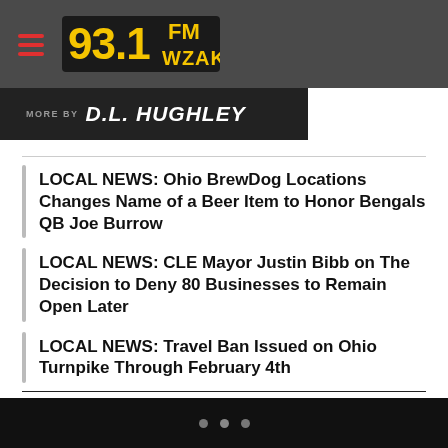93.1 FM WZAK
MORE BY D.L. HUGHLEY
LOCAL NEWS: Ohio BrewDog Locations Changes Name of a Beer Item to Honor Bengals QB Joe Burrow
LOCAL NEWS: CLE Mayor Justin Bibb on The Decision to Deny 80 Businesses to Remain Open Later
LOCAL NEWS: Travel Ban Issued on Ohio Turnpike Through February 4th